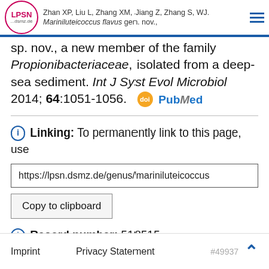LPSN dsmz.de | Zhan XP, Liu L, Zhang XM, Jiang Z, Zhang S, WJ. Mariniluteicoccus flavus gen. nov.
sp. nov., a new member of the family Propionibacteriaceae, isolated from a deep-sea sediment. Int J Syst Evol Microbiol 2014; 64:1051-1056.
Linking: To permanently link to this page, use
https://lpsn.dsmz.de/genus/mariniluteicoccus
Copy to clipboard
Record number: 518515
Imprint   Privacy Statement   #49937